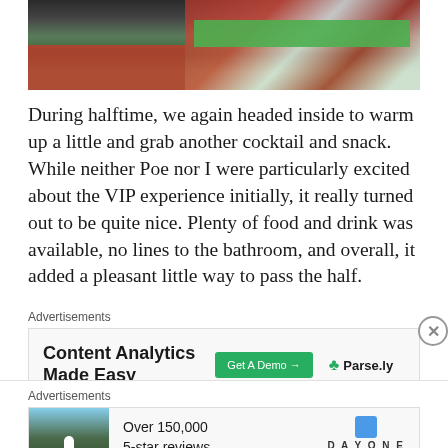[Figure (photo): Photo of a football/soccer stadium from spectator view, showing crowd in red and white, green pitch visible in upper right, dark foreground with red seats]
During halftime, we again headed inside to warm up a little and grab another cocktail and snack. While neither Poe nor I were particularly excited about the VIP experience initially, it really turned out to be quite nice. Plenty of food and drink was available, no lines to the bathroom, and overall, it added a pleasant little way to pass the half.
Advertisements
[Figure (other): Advertisement banner: Content Analytics Made Easy, with green Get A Demo button and Parse.ly logo]
Advertisements
[Figure (other): Advertisement banner: Photo of person on hilltop, Over 150,000 5-star reviews, Day One Journal logo]